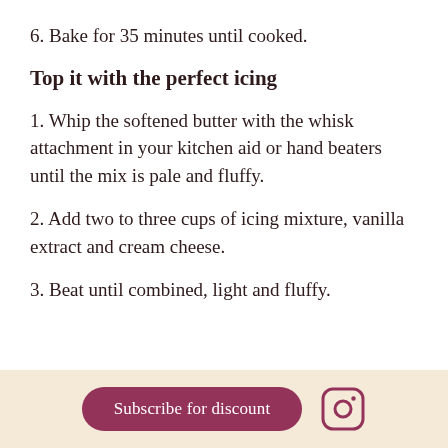6. Bake for 35 minutes until cooked.
Top it with the perfect icing
1. Whip the softened butter with the whisk attachment in your kitchen aid or hand beaters until the mix is pale and fluffy.
2. Add two to three cups of icing mixture, vanilla extract and cream cheese.
3. Beat until combined, light and fluffy.
Subscribe for discount